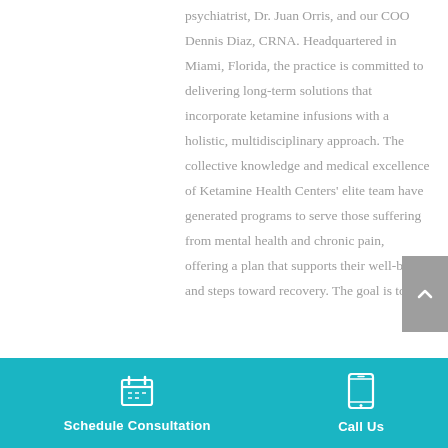psychiatrist, Dr. Juan Orris, and our COO Dennis Diaz, CRNA. Headquartered in Miami, Florida, the practice is committed to delivering long-term solutions that incorporate ketamine infusions with a holistic, multidisciplinary approach. The collective knowledge and medical excellence of Ketamine Health Centers' elite team have generated programs to serve those suffering from mental health and chronic pain, offering a plan that supports their well-being and steps toward recovery. The goal is to use
Schedule Consultation   Call Us